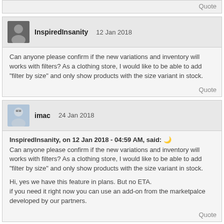Quote
InspiredInsanity 12 Jan 2018
Can anyone please confirm if the new variations and inventory will works with filters? As a clothing store, I would like to be able to add "filter by size" and only show products with the size variant in stock.
Quote
imac 24 Jan 2018
InspiredInsanity, on 12 Jan 2018 - 04:59 AM, said:
Can anyone please confirm if the new variations and inventory will works with filters? As a clothing store, I would like to be able to add "filter by size" and only show products with the size variant in stock.
Hi, yes we have this feature in plans. But no ETA.
if you need it right now you can use an add-on from the marketpalce developed by our partners.
Quote
imac 24 Jan 2018